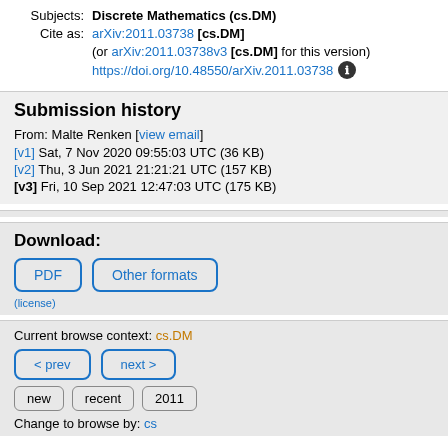Subjects: Discrete Mathematics (cs.DM)
Cite as: arXiv:2011.03738 [cs.DM] (or arXiv:2011.03738v3 [cs.DM] for this version) https://doi.org/10.48550/arXiv.2011.03738
Submission history
From: Malte Renken [view email]
[v1] Sat, 7 Nov 2020 09:55:03 UTC (36 KB)
[v2] Thu, 3 Jun 2021 21:21:21 UTC (157 KB)
[v3] Fri, 10 Sep 2021 12:47:03 UTC (175 KB)
Download:
PDF  Other formats
(license)
Current browse context: cs.DM
< prev  next >
new  recent  2011
Change to browse by: cs